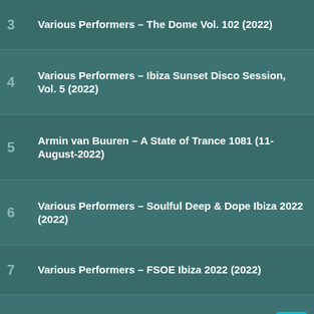3  Various Performers – The Dome Vol. 102 (2022)
4  Various Performers – Ibiza Sunset Disco Session, Vol. 5 (2022)
5  Armin van Buuren – A State of Trance 1081 (11-August-2022)
6  Various Performers – Soulful Deep & Dope Ibiza 2022 (2022)
7  Various Performers – FSOE Ibiza 2022 (2022)
8  Various Performers – Back To Earth #06 (2022)
9  Various Performers – Traxsource Essential Minimal Deep Tech August 2022 (2022)